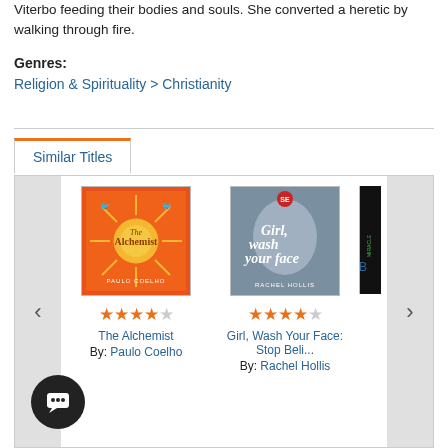Viterbo feeding their bodies and souls. She converted a heretic by walking through fire.
Genres:
Religion & Spirituality > Christianity
Similar Titles
[Figure (screenshot): Carousel of similar book titles including The Alchemist by Paulo Coelho and Girl, Wash Your Face: Stop Beli... by Rachel Hollis, with star ratings and navigation arrows.]